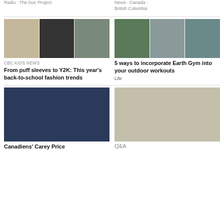Radio · The Doc Project
News · Canada · British Columbia
[Figure (photo): Three-panel fashion photo collage showing young people in back-to-school outfits]
CBC KIDS NEWS
From puff sleeves to Y2K: This year's back-to-school fashion trends
[Figure (photo): Three-panel outdoor photo collage showing people exercising outdoors in a rocky mountain landscape]
5 ways to incorporate Earth Gym into your outdoor workouts
Life
[Figure (photo): Close-up photo of Canadiens goalie Carey Price wearing a decorated hockey mask]
Canadiens' Carey Price
[Figure (photo): Photo of a woman standing on a sidewalk in a city]
Q&A